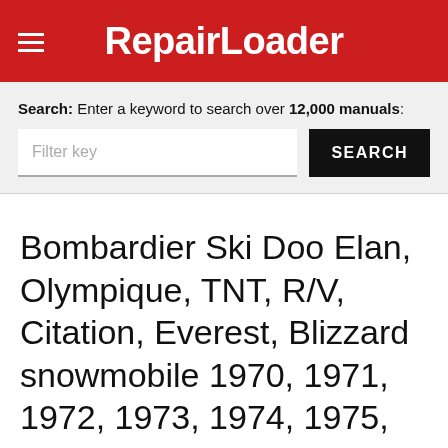RepairLoader
Search: Enter a keyword to search over 12,000 manuals:
Bombardier Ski Doo Elan, Olympique, TNT, R/V, Citation, Everest, Blizzard snowmobile 1970, 1971, 1972, 1973, 1974, 1975, 1976, 1977, 1978, 1979 Manual download 0*#